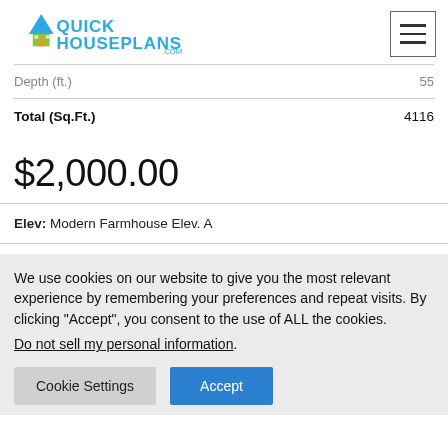QuickHousePlans.com — navigation header
|  |  |
| --- | --- |
| Depth (ft.) | 55 |
| Total (Sq.Ft.) | 4116 |
$2,000.00
Elev: Modern Farmhouse Elev. A
We use cookies on our website to give you the most relevant experience by remembering your preferences and repeat visits. By clicking “Accept”, you consent to the use of ALL the cookies. Do not sell my personal information.